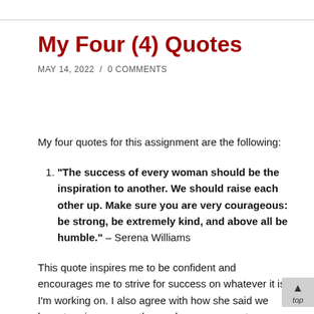My Four (4) Quotes
MAY 14, 2022  /  0 COMMENTS
My four quotes for this assignment are the following:
"The success of every woman should be the inspiration to another. We should raise each other up. Make sure you are very courageous: be strong, be extremely kind, and above all be humble." – Serena Williams
This quote inspires me to be confident and encourages me to strive for success on whatever it is I'm working on. I also agree with how she said we have to raise one another and are generous to one another as well. Being selfish and cruel has never benefited anyone therefore